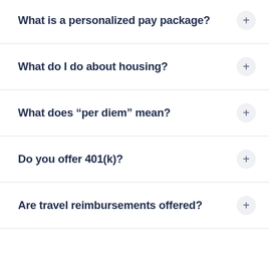What is a personalized pay package?
What do I do about housing?
What does “per diem” mean?
Do you offer 401(k)?
Are travel reimbursements offered?